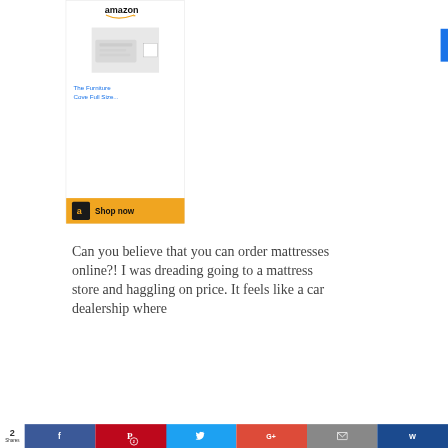[Figure (other): Amazon advertisement widget showing Amazon smile logo, product image placeholder for The Furniture Cove Full Size item, and a yellow Shop Now button with Amazon icon]
Can you believe that you can order mattresses online?! I was dreading going to a mattress store and haggling on price. It feels like a car dealership where
[Figure (other): Social sharing bar at bottom with Shares count of 2, Facebook (blue), Pinterest (red with badge 2), Twitter (blue), Google+ (red), email (gray), and bookmark (dark blue) buttons]